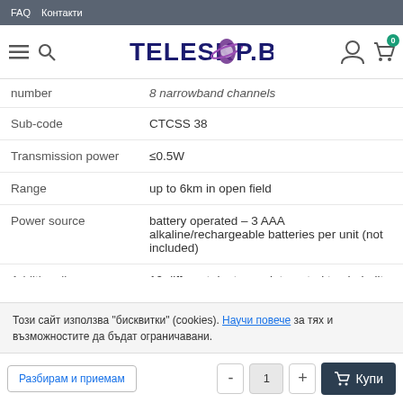FAQ  Контакти
[Figure (logo): TELESKOP.BG logo with hamburger menu, search icon, user icon and cart with 0 badge]
| Property | Value |
| --- | --- |
| number | 8 narrowband channels |
| Sub-code | CTCSS 38 |
| Transmission power | ≤0.5W |
| Range | up to 6km in open field |
| Power source | battery operated – 3 AAA alkaline/rechargeable batteries per unit (not included) |
| Additionally | 10 different ringtones, integrated torch, built-in headphone jack, LCD display with battery indicator |
Този сайт използва "бисквитки" (cookies). Научи повече за тях и възможностите да бъдат ограничавани.
Разбирам и приемам
- 1 + Купи